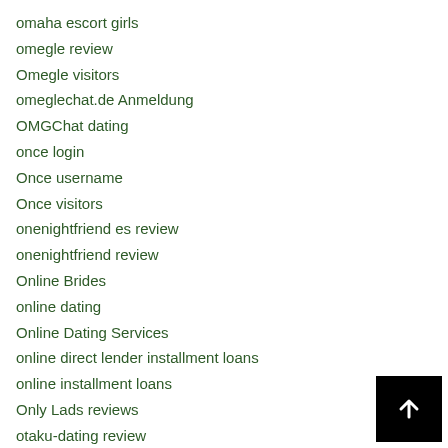omaha escort girls
omegle review
Omegle visitors
omeglechat.de Anmeldung
OMGChat dating
once login
Once username
Once visitors
onenightfriend es review
onenightfriend review
Online Brides
online dating
Online Dating Services
online direct lender installment loans
online installment loans
Only Lads reviews
otaku-dating review
other
Our Teen Network dating